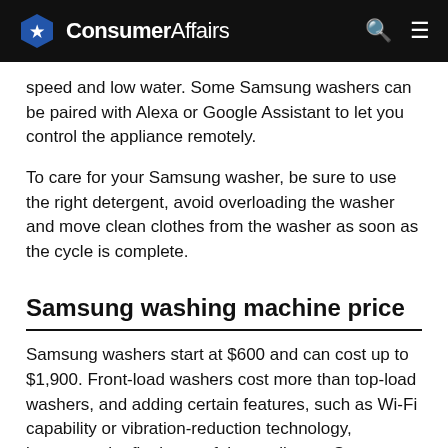ConsumerAffairs
speed and low water. Some Samsung washers can be paired with Alexa or Google Assistant to let you control the appliance remotely.
To care for your Samsung washer, be sure to use the right detergent, avoid overloading the washer and move clean clothes from the washer as soon as the cycle is complete.
Samsung washing machine price
Samsung washers start at $600 and can cost up to $1,900. Front-load washers cost more than top-load washers, and adding certain features, such as Wi-Fi capability or vibration-reduction technology, increases the final cost of the appliance. Samsung has sales